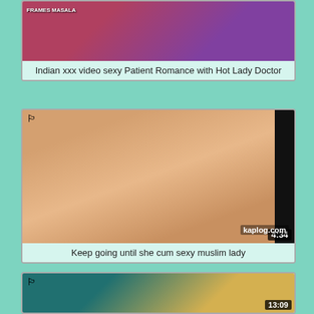[Figure (photo): Video thumbnail showing two people, partial view, blurred]
Indian xxx video sexy Patient Romance with Hot Lady Doctor
[Figure (photo): Video thumbnail showing close-up of hands/body, with kaplog.com watermark, duration 4:34]
Keep going until she cum sexy muslim lady
[Figure (photo): Video thumbnail showing person with equipment, duration 13:09]